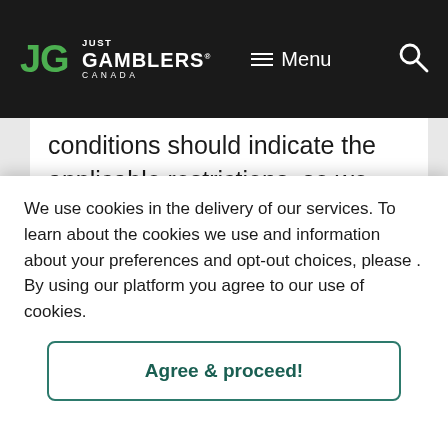Just Gamblers Canada — Menu
conditions should indicate the applicable restrictions, so we encourage you to read through those before betting carefully.
The Biggest Names in
We use cookies in the delivery of our services. To learn about the cookies we use and information about your preferences and opt-out choices, please . By using our platform you agree to our use of cookies.
Agree & proceed!